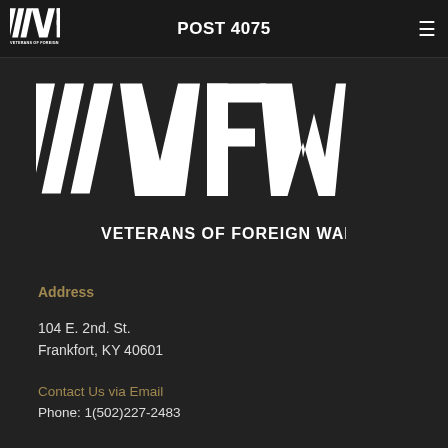POST 4075
[Figure (logo): VFW Veterans of Foreign Wars large white logo on dark background]
Address
104 E. 2nd. St.
Frankfort, KY 40601
Contact Us via Email
Phone: 1(502)227-2483